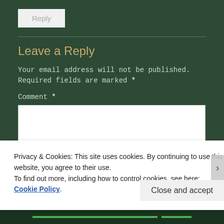Reply
Leave a Reply
Your email address will not be published. Required fields are marked *
Comment *
[Figure (screenshot): Empty white comment text area input box]
Privacy & Cookies: This site uses cookies. By continuing to use this website, you agree to their use.
To find out more, including how to control cookies, see here: Cookie Policy
Close and accept